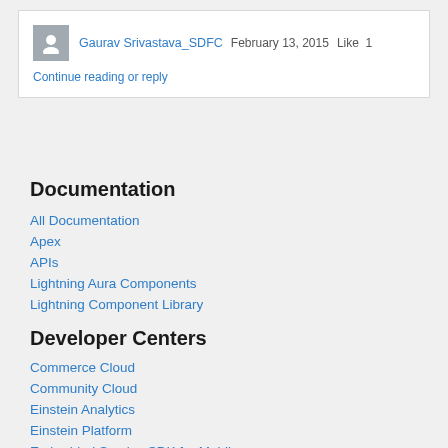Gaurav Srivastava_SDFC   February 13, 2015   Like  1
Continue reading or reply
Documentation
All Documentation
Apex
APIs
Lightning Aura Components
Lightning Component Library
Developer Centers
Commerce Cloud
Community Cloud
Einstein Analytics
Einstein Platform
Embedded Service SDK for Mobile
Heroku Developer Center
Identity
Integration and APIs
Lightning Apps
Lightning Flow
Marketing Cloud
Mobile Developer Center